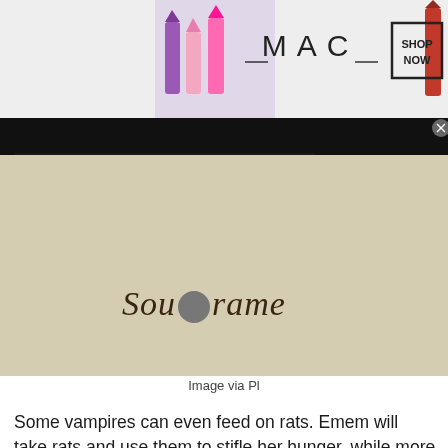[Figure (screenshot): MAC cosmetics advertisement banner with lipsticks on left and SHOP NOW button on right]
[Figure (screenshot): Dark video player area with a Soulframe logo overlay popup showing gothic text on textured background]
Image via Pl...
Some vampires can even feed on rats. Emem will take rats and use them to stifle her hunger, while more conceited characters like Galeb refuse to do so. Make sure to grab a snack when your hunger bar gets high to avoid losing control and leave humanity intact to stop the Suspicion gauge.
For more on Vampire The Masquerade:
Swans... on Pro Ga...
[Figure (screenshot): ULTA beauty advertisement banner with makeup photos and SHOP NOW button]